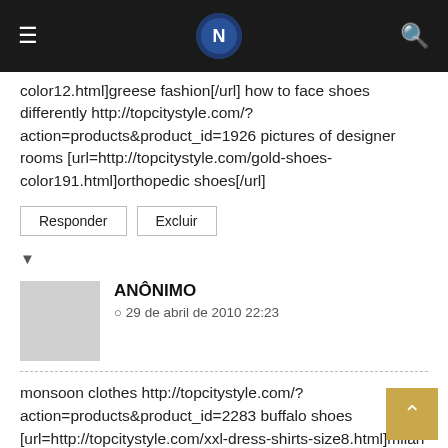Navigation bar with menu icon, logo, and search icon
color12.html]greese fashion[/url] how to face shoes differently http://topcitystyle.com/?action=products&product_id=1926 pictures of designer rooms [url=http://topcitystyle.com/gold-shoes-color191.html]orthopedic shoes[/url]
Responder | Excluir
▼
ANÔNIMO
29 de abril de 2010 22:23
monsoon clothes http://topcitystyle.com/?action=products&product_id=2283 buffalo shoes [url=http://topcitystyle.com/xxl-dress-shirts-size8.html]milan fashion week most viewed photos[/url] betty boop shoes http://topcitystyle.com/white-grey-blue-color109.html gucci purses [url=http://topcitystyle.com/river-island-long-sleeve-top-for-women-white-item1641.html]mens wholesale fashion au[/url]